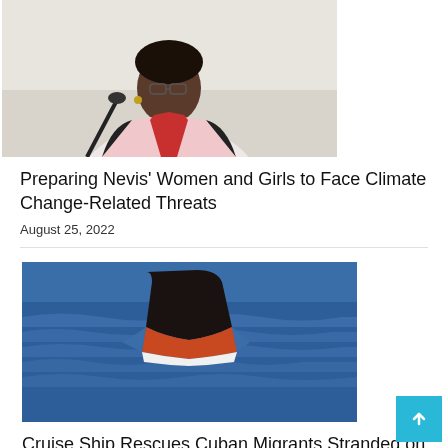[Figure (photo): Woman in pink blazer speaking at a microphone, wearing glasses and earrings]
Preparing Nevis' Women and Girls to Face Climate Change-Related Threats
August 25, 2022
[Figure (photo): Makeshift boat partially capsized in blue ocean water, viewed from above]
Cruise Ship Rescues Cuban Migrants Stranded on Makeshift Boat